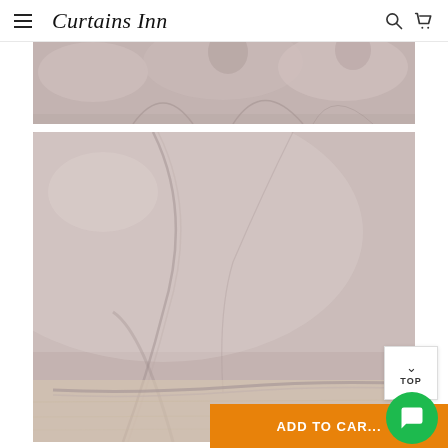Curtains Inn
[Figure (photo): Close-up photo of taupe/mauve fabric showing pillow-like gathered textile (top, cropped)]
[Figure (photo): Close-up photo of taupe/mauve smooth fabric sheet with folds and piped edge, laid on a light wooden surface]
ADD TO CAR...